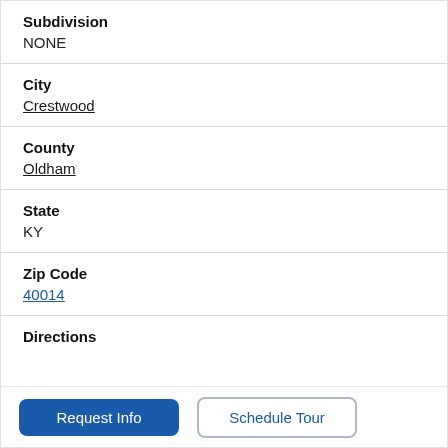Subdivision
NONE
City
Crestwood
County
Oldham
State
KY
Zip Code
40014
Directions
Request Info
Schedule Tour